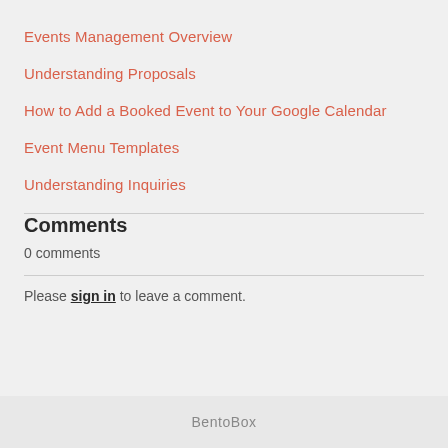Events Management Overview
Understanding Proposals
How to Add a Booked Event to Your Google Calendar
Event Menu Templates
Understanding Inquiries
Comments
0 comments
Please sign in to leave a comment.
BentoBox